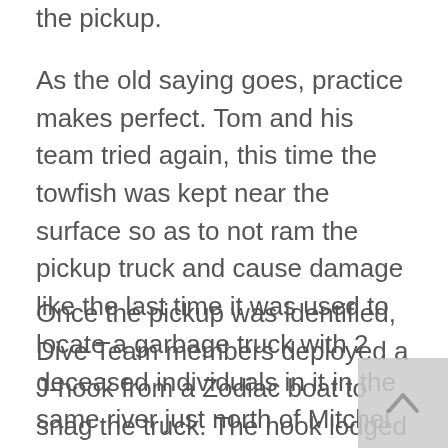the pickup.
As the old saying goes, practice makes perfect. Tom and his team tried again, this time the towfish was kept near the surface so as to not ram the pickup truck and cause damage like the last time it was used to locate a garbage truck with 2 deceased individuals in it in the same river just north of Mitchel SD.
Once the pickup was identified, Dive Team members deployed a J-hook from a Zodiac boat to snag the truck. The hook lodged in a solid area after several attempts and Lincoln Auto Salvage was able to pull it to shore. Beadle Country's OEM knows first-